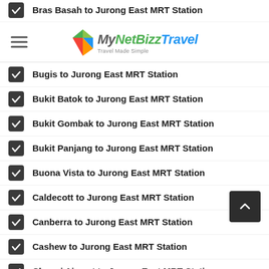Bras Basah to Jurong East MRT Station
MyNetBizz Travel — Travel Made Simple
Bugis to Jurong East MRT Station
Bukit Batok to Jurong East MRT Station
Bukit Gombak to Jurong East MRT Station
Bukit Panjang to Jurong East MRT Station
Buona Vista to Jurong East MRT Station
Caldecott to Jurong East MRT Station
Canberra to Jurong East MRT Station
Cashew to Jurong East MRT Station
Changi Airport to Jurong East MRT Station
Chinatown to Jurong East MRT Station
Chinese Garden to Jurong East MRT Station
Choa Chu Kang to Jurong East MRT Station